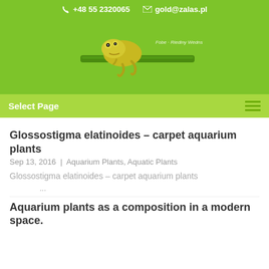+48 55 2320065   gold@zalas.pl
[Figure (illustration): Green frog sitting on a bamboo stick, logo for zalas.pl website, on bright green background. Photo credit: Riediny Wedns]
Select Page
Glossostigma elatinoides – carpet aquarium plants
Sep 13, 2016  |  Aquarium Plants, Aquatic Plants
Glossostigma elatinoides – carpet aquarium plants
...
Aquarium plants as a composition in a modern space.